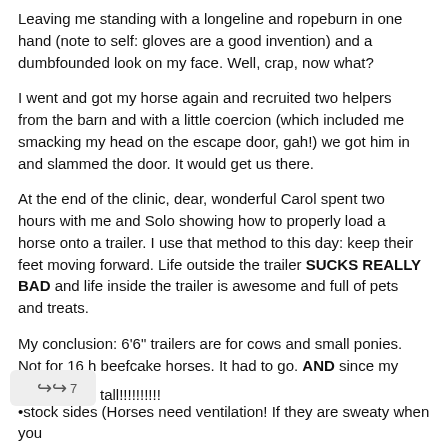Leaving me standing with a longeline and ropeburn in one hand (note to self: gloves are a good invention) and a dumbfounded look on my face. Well, crap, now what?
I went and got my horse again and recruited two helpers from the barn and with a little coercion (which included me smacking my head on the escape door, gah!) we got him in and slammed the door. It would get us there.
At the end of the clinic, dear, wonderful Carol spent two hours with me and Solo showing how to properly load a horse onto a trailer. I use that method to this day: keep their feet moving forward. Life outside the trailer SUCKS REALLY BAD and life inside the trailer is awesome and full of pets and treats.
My conclusion: 6'6" trailers are for cows and small ponies. Not for 16 h beefcake horses. It had to go. AND since my Expedition had broken down on the way home from the clinic and was quickly revealing itself to be a problem ridden BEAST, it HAD to go, I was tired of fixing it.
New rig requirements:
tall!!!!!!!!!!
stock sides (Horses need ventilation! If they are sweaty when you